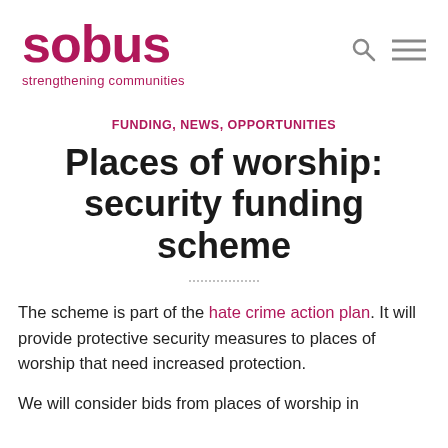sobus — strengthening communities
FUNDING, NEWS, OPPORTUNITIES
Places of worship: security funding scheme
The scheme is part of the hate crime action plan. It will provide protective security measures to places of worship that need increased protection.
We will consider bids from places of worship in